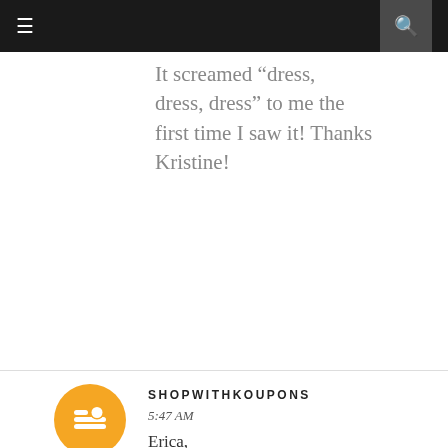≡  [search icon]
It screamed "dress, dress, dress" to me the first time I saw it! Thanks Kristine!
Reply
SHOPWITHKOUPONS
5:47 AM
Erica,
It would be great to do a sew along for those who are a beginner like me. I did purchase this pattern with the